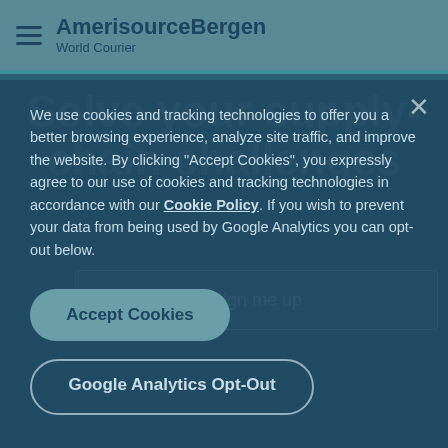AmerisourceBergen World Courier
Solve your supply-chain challenges
We use cookies and tracking technologies to offer you a better browsing experience, analyze site traffic, and improve the website. By clicking "Accept Cookies", you expressly agree to our use of cookies and tracking technologies in accordance with our Cookie Policy. If you wish to prevent your data from being used by Google Analytics you can opt-out below.
Sign me up
Accept Cookies
Google Analytics Opt-Out